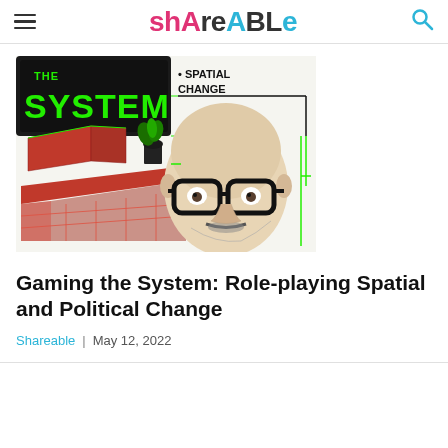Shareable
[Figure (illustration): Illustrated image showing a bald man with thick black glasses and a mustache/beard drawn in pencil sketch style, alongside 3D rendered red modular furniture/structures and green neon text reading 'THE SYSTEM' on a dark background. Green lines connect elements. Text 'SPATIAL CHANGE' appears in the upper right.]
Gaming the System: Role-playing Spatial and Political Change
Shareable  |  May 12, 2022